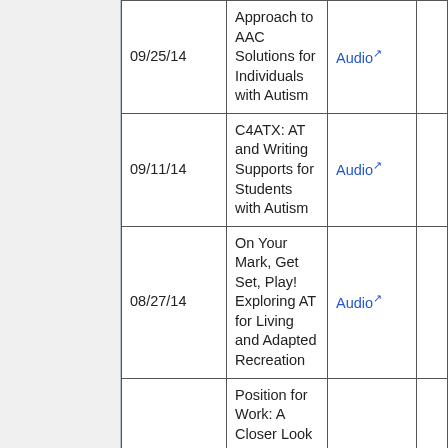| Date | Title | Audio |  |
| --- | --- | --- | --- |
| 09/25/14 | Approach to AAC Solutions for Individuals with Autism | Audio |  |
| 09/11/14 | C4ATX: AT and Writing Supports for Students with Autism | Audio |  |
| 08/27/14 | On Your Mark, Get Set, Play! Exploring AT for Living and Adapted Recreation | Audio |  |
| 07/30/14 | Position for Work: A Closer Look at Workplace Accommodations & Assessments | Audio |  |
|  | Learn More and Do More... |  |  |